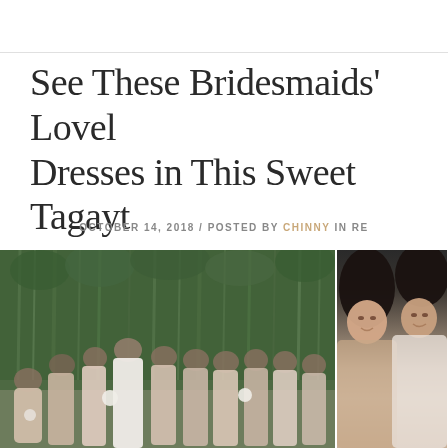See These Bridesmaids' Lovely Dresses in This Sweet Tagayt...
OCTOBER 14, 2018 / POSTED BY CHINNY IN RE...
[Figure (photo): Two side-by-side wedding photos. Left: A group of bridesmaids in mismatched champagne/blush dresses standing in front of lush green bamboo trees. Right: Close-up of two smiling women, one in a white dress.]